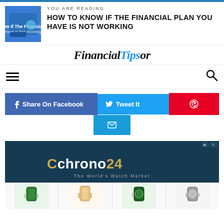YOU ARE READING
HOW TO KNOW IF THE FINANCIAL PLAN YOU HAVE IS NOT WORKING
[Figure (logo): FinancialTipsor website logo in bold italic serif/sans font]
[Figure (infographic): Navigation bar with hamburger menu icon on left and search icon on right]
[Figure (infographic): Social share buttons: Share On Facebook (dark blue), Tweet It (light blue), Pinterest (red), Email (blue)]
[Figure (screenshot): Chrono24 advertisement banner showing logo, tagline 'The World's Watch Market', and watch product images below]